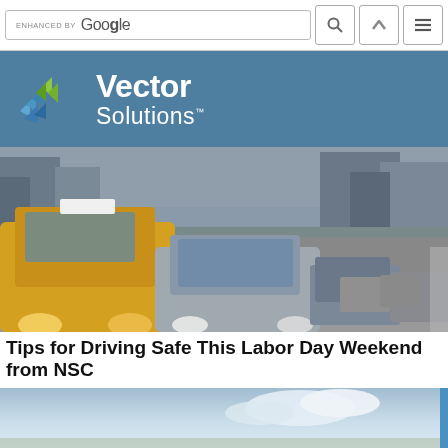[Figure (screenshot): Search bar with 'ENHANCED BY Google' text, search icon button, up arrow button, and hamburger menu button]
[Figure (logo): Vector Solutions logo with blue/green chevron icon on teal background]
[Figure (photo): Traffic photo showing cars in city street including yellow taxi, with buildings in background]
Tips for Driving Safe This Labor Day Weekend from NSC
[Figure (photo): Bottom partial photo showing blue sky with clouds]